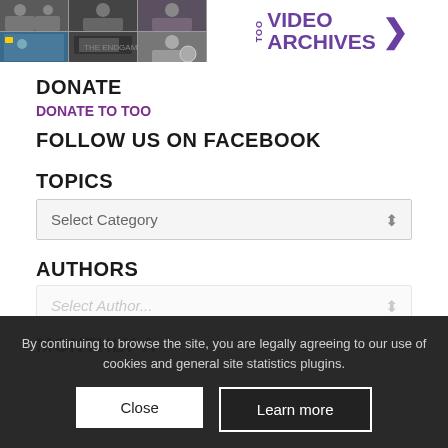[Figure (screenshot): Video archives banner with photo grid thumbnails and purple 'TOO VIDEO ARCHIVES >' text on right]
DONATE
DONATE TO TOO
FOLLOW US ON FACEBOOK
TOPICS
Select Category
AUTHORS
Select Author...
MONTHLY A
By continuing to browse the site, you are legally agreeing to our use of cookies and general site statistics plugins.
Close
Learn more